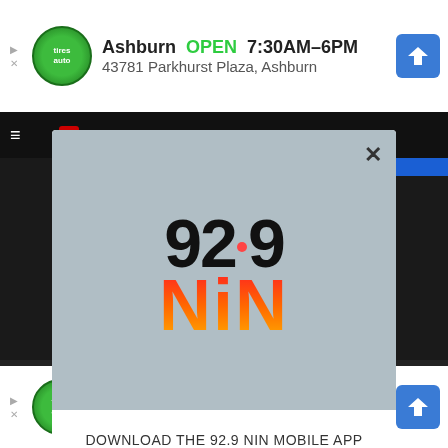[Figure (screenshot): Top advertisement banner: Ashburn OPEN 7:30AM-6PM, 43781 Parkhurst Plaza, Ashburn]
[Figure (logo): 92.9 NIN radio station logo with orange/red gradient NIN text]
DOWNLOAD THE 92.9 NIN MOBILE APP
GET OUR FREE MOBILE APP
Also listen on:  amazon alexa
[Figure (screenshot): Bottom advertisement banner: Save Big on Goodyear Tires, Virginia Tire & Auto of Ashburn]